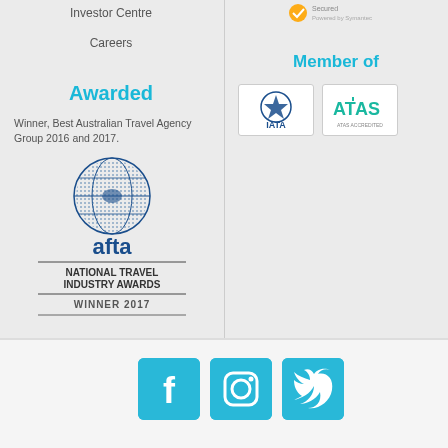Investor Centre
Careers
Awarded
Winner, Best Australian Travel Agency Group 2016 and 2017.
[Figure (logo): AFTA National Travel Industry Awards Winner 2017 badge with globe icon]
[Figure (logo): Symantec secured badge]
Member of
[Figure (logo): IATA member logo]
[Figure (logo): ATAS accredited logo]
[Figure (logo): Facebook social media icon]
[Figure (logo): Instagram social media icon]
[Figure (logo): Twitter social media icon]